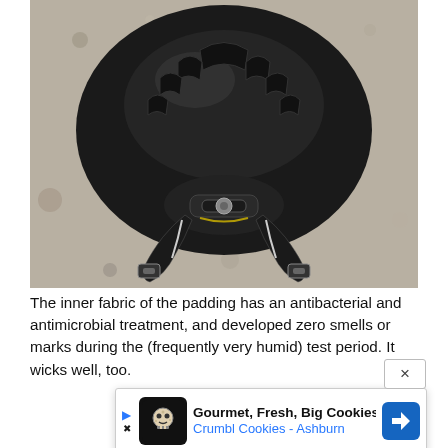[Figure (photo): Top-down view of a black cycling helmet showing the rear retention system and chin straps on a gravel background]
The inner fabric of the padding has an antibacterial and antimicrobial treatment, and developed zero smells or marks during the (frequently very humid) test period. It wicks well, too.
[Figure (photo): Side view of a black cycling helmet showing blue interior padding]
[Figure (other): Advertisement overlay: Gourmet, Fresh, Big Cookies - Crumbl Cookies - Ashburn, with cookie logo and map direction arrow icon]